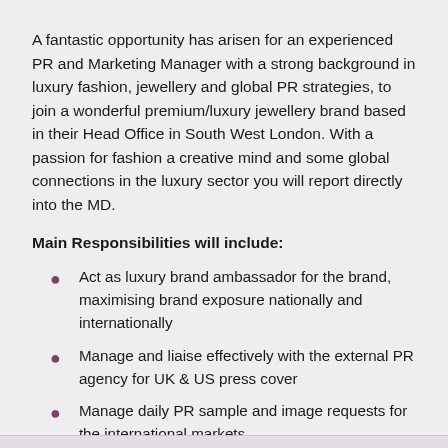A fantastic opportunity has arisen for an experienced PR and Marketing Manager with a strong background in luxury fashion, jewellery and global PR strategies, to join a wonderful premium/luxury jewellery brand based in their Head Office in South West London. With a passion for fashion a creative mind and some global connections in the luxury sector you will report directly into the MD.
Main Responsibilities will include:
Act as luxury brand ambassador for the brand, maximising brand exposure nationally and internationally
Manage and liaise effectively with the external PR agency for UK & US press cover
Manage daily PR sample and image requests for the international markets